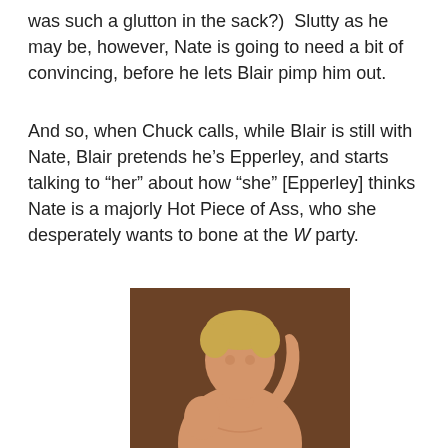was such a glutton in the sack?)  Slutty as he may be, however, Nate is going to need a bit of convincing, before he lets Blair pimp him out.
And so, when Chuck calls, while Blair is still with Nate, Blair pretends he's Epperley, and starts talking to “her” about how “she” [Epperley] thinks Nate is a majorly Hot Piece of Ass, who she desperately wants to bone at the W party.
[Figure (photo): Shirtless young man with blonde hair, hand raised to back of head, against a brown studio background.]